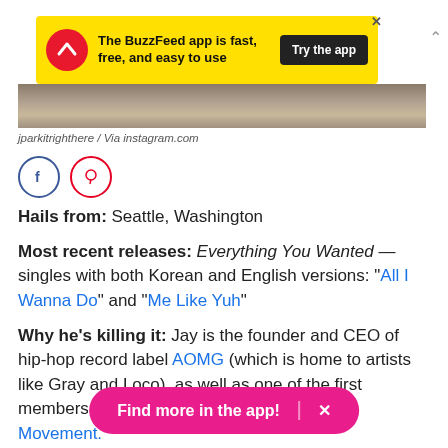[Figure (other): BuzzFeed app advertisement banner. Yellow background with red circle logo showing white arrow, text 'The BuzzFeed app is fast, free, and easy to use', and a dark 'Try the app' button.]
[Figure (photo): Partial cropped photo showing textured ground or surface.]
jparkitrighthere / Via instagram.com
[Figure (other): Social media share buttons: Facebook (blue circle) and Pinterest (red circle)]
Hails from: Seattle, Washington
Most recent releases: Everything You Wanted — singles with both Korean and English versions: "All I Wanna Do" and "Me Like Yuh"
Why he's killing it: Jay is the founder and CEO of hip-hop record label AOMG (which is home to artists like Gray and Loco), as well as one of the first members of S[...] rt of Movement.
[Figure (other): Pink 'Find more in the app!' button overlay with X close button]